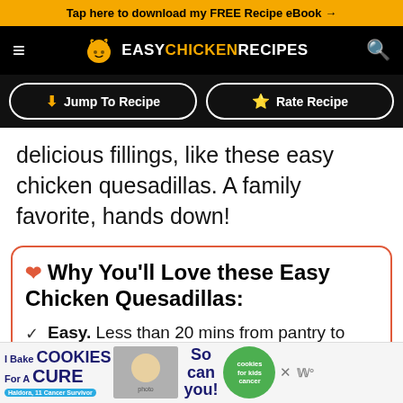Tap here to download my FREE Recipe eBook →
EASY CHICKEN RECIPES
Jump To Recipe | Rate Recipe
delicious fillings, like these easy chicken quesadillas. A family favorite, hands down!
❤ Why You'll Love these Easy Chicken Quesadillas:
Easy. Less than 20 mins from pantry to table!
[Figure (other): Advertisement banner: I Bake Cookies For A Cure – Haldora, 11 Cancer Survivor – So can you! – cookies for kids cancer logo – close button]